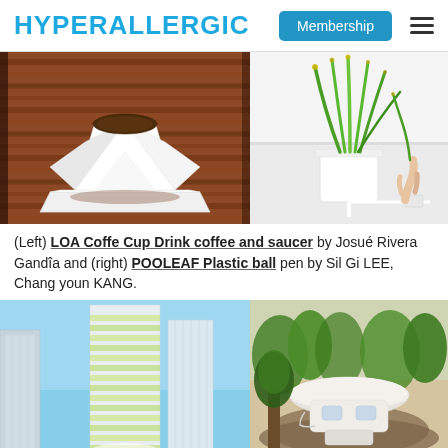HYPERALLERGIC | Membership
[Figure (photo): Left: LOA Coffe Cup Drink coffee and saucer - white angular origami-style cup and saucer on wooden surface. Right: POOLEAF Plastic ball pen - green grass plant in white pot, hand holding pen that resembles a blade of grass.]
(Left) LOA Coffe Cup Drink coffee and saucer by Josué Rivera Gandîa and (right) POOLEAF Plastic ball pen by Sil Gi LEE, Chang youn KANG.
[Figure (photo): Left: Tall modern residential tower with green terraces/balconies in urban setting with blue sky. Right: Organic-shaped white modern house structure nestled among trees and rocks.]